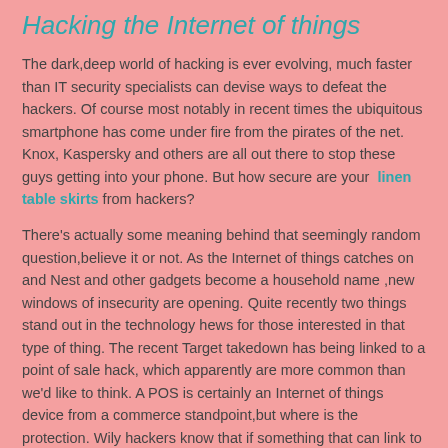Hacking the Internet of things
The dark,deep world of hacking is ever evolving, much faster than IT security specialists can devise ways to defeat the hackers. Of course most notably in recent times the ubiquitous smartphone has come under fire from the pirates of the net. Knox, Kaspersky and others are all out there to stop these guys getting into your phone. But how secure are your  linen table skirts from hackers?
There's actually some meaning behind that seemingly random question,believe it or not. As the Internet of things catches on and Nest and other gadgets become a household name ,new windows of insecurity are opening. Quite recently two things stand out in the technology hews for those interested in that type of thing. The recent Target takedown has being linked to a point of sale hack, which apparently are more common than we'd like to think. A POS is certainly an Internet of things device from a commerce standpoint,but where is the protection. Wily hackers know that if something that can link to the Internet it is fair game to be hacked and